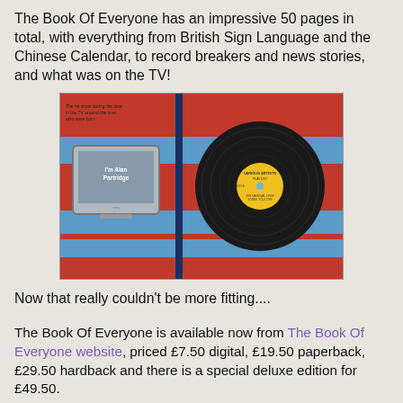The Book Of Everyone has an impressive 50 pages in total, with everything from British Sign Language and the Chinese Calendar, to record breakers and news stories, and what was on the TV!
[Figure (photo): Open book showing a page with a TV on the left displaying 'I'm Alan Partridge' and a vinyl record on the right with a yellow label, on a colourful orange and blue background.]
Now that really couldn't be more fitting....
The Book Of Everyone is available now from The Book Of Everyone website, priced £7.50 digital, £19.50 paperback, £29.50 hardback and there is a special deluxe edition for £49.50.